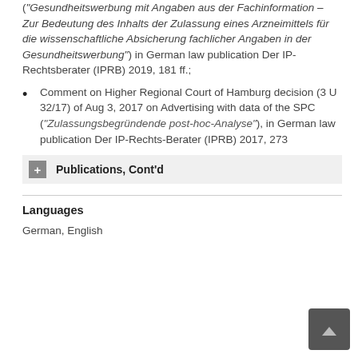("Gesundheitswerbung mit Angaben aus der Fachinformation – Zur Bedeutung des Inhalts der Zulassung eines Arzneimittels für die wissenschaftliche Absicherung fachlicher Angaben in der Gesundheitswerbung") in German law publication Der IP-Rechtsberater (IPRB) 2019, 181 ff.;
Comment on Higher Regional Court of Hamburg decision (3 U 32/17) of Aug 3, 2017 on Advertising with data of the SPC ("Zulassungsbegründende post-hoc-Analyse"), in German law publication Der IP-Rechts-Berater (IPRB) 2017, 273
Publications, Cont'd
Languages
German, English